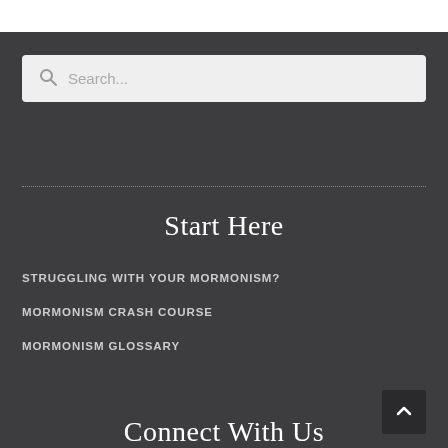[Figure (screenshot): Search bar with magnifying glass icon and placeholder text 'Search...' on a light grey background]
Start Here
STRUGGLING WITH YOUR MORMONISM?
MORMONISM CRASH COURSE
MORMONISM GLOSSARY
Connect With Us